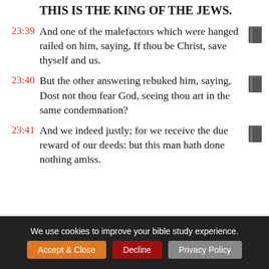THIS IS THE KING OF THE JEWS.
23:39 And one of the malefactors which were hanged railed on him, saying, If thou be Christ, save thyself and us.
23:40 But the other answering rebuked him, saying, Dost not thou fear God, seeing thou art in the same condemnation?
23:41 And we indeed justly; for we receive the due reward of our deeds: but this man hath done nothing amiss.
We use cookies to improve your bible study experience. Accept & Close  Decline  Privacy Policy